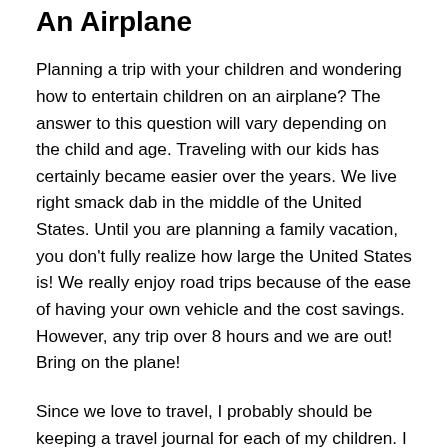An Airplane
Planning a trip with your children and wondering how to entertain children on an airplane? The answer to this question will vary depending on the child and age. Traveling with our kids has certainly became easier over the years. We live right smack dab in the middle of the United States. Until you are planning a family vacation, you don't fully realize how large the United States is! We really enjoy road trips because of the ease of having your own vehicle and the cost savings. However, any trip over 8 hours and we are out! Bring on the plane!
Since we love to travel, I probably should be keeping a travel journal for each of my children. I bet my oldest has been on at least two dozen